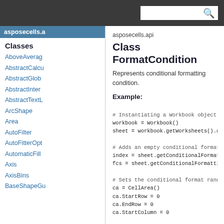asposecells.api
Classes
AboveAverag
AbstractCalcu
AbstractGlob
AbstractInter
AbstractTextL
ArcShape
Area
AutoFilter
AutoFitterOpt
AutomaticFill
Axis
AxisBins
BaseShapeGu
asposecells.api
Class FormatCondition
Represents conditional formatting condition.
Example:
# Instantiating a Workbook object
workbook = Workbook()
sheet = workbook.getWorksheets().get(0)

# Adds an empty conditional formatting
index = sheet.getConditionalFormattings(
fcs = sheet.getConditionalFormattings().

# Sets the conditional format range.
ca = CellArea()
ca.StartRow = 0
ca.EndRow = 0
ca.StartColumn = 0